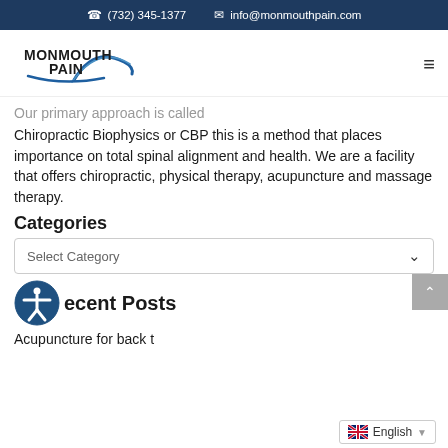(732) 345-1377  info@monmouthpain.com
[Figure (logo): Monmouth Pain logo with wave graphic and text MONMOUTH PAIN]
Our primary approach is called Chiropractic Biophysics or CBP this is a method that places importance on total spinal alignment and health. We are a facility that offers chiropractic, physical therapy, acupuncture and massage therapy.
Categories
Select Category
Recent Posts
Acupuncture for back t...